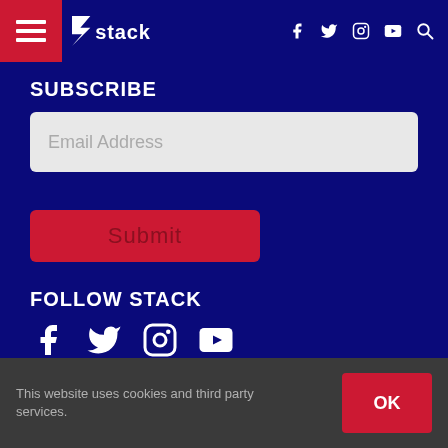stack — navigation bar with hamburger menu, logo, social icons (f, twitter, instagram, youtube), search
SUBSCRIBE
Email Address
Submit
FOLLOW STACK
[Figure (other): Social media icons: Facebook, Twitter, Instagram, YouTube]
This website uses cookies and third party services.
OK